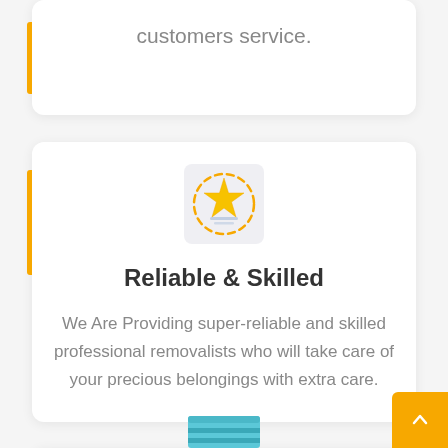customers service.
[Figure (illustration): Star rating / quality badge icon with a gold star and dashed circular arrows around it, on a light grey background]
Reliable & Skilled
We Are Providing super-reliable and skilled professional removalists who will take care of your precious belongings with extra care.
[Figure (illustration): Partially visible icon at the bottom of the page showing stacked boxes with orange handles, representing moving/removalist services]